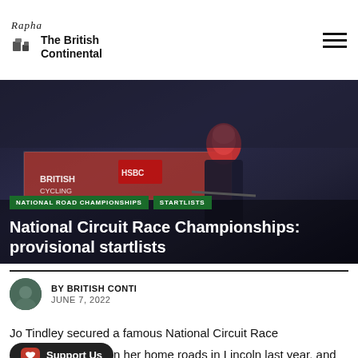Rapha | The British Continental
[Figure (photo): Cyclist in red helmet and dark kit racing past British Cycling/HSBC branded barriers at night, with crowd in background]
NATIONAL ROAD CHAMPIONSHIPS  STARTLISTS
National Circuit Race Championships: provisional startlists
BY BRITISH CONTI
JUNE 7, 2022
Jo Tindley secured a famous National Circuit Race Championship on her home roads in Lincoln last year, and will bid to defend her title on a technical circuit in Kirkcudbright on Friday 24 June, after a string of